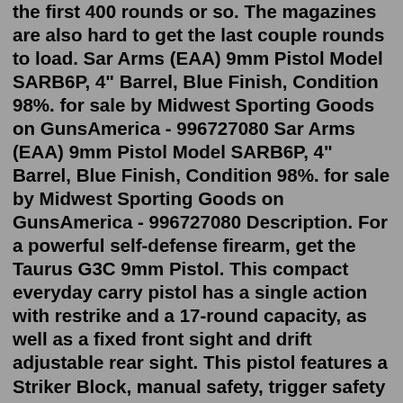the first 400 rounds or so. The magazines are also hard to get the last couple rounds to load. Sar Arms (EAA) 9mm Pistol Model SARB6P, 4" Barrel, Blue Finish, Condition 98%. for sale by Midwest Sporting Goods on GunsAmerica - 996727080 Sar Arms (EAA) 9mm Pistol Model SARB6P, 4" Barrel, Blue Finish, Condition 98%. for sale by Midwest Sporting Goods on GunsAmerica - 996727080 Description. For a powerful self-defense firearm, get the Taurus G3C 9mm Pistol. This compact everyday carry pistol has a single action with restrike and a 17-round capacity, as well as a fixed front sight and drift adjustable rear sight. This pistol features a Striker Block, manual safety, trigger safety and loaded chamber indicator. This mod adds a 9mm pistol (a.k.a. Browning Hi-Power) from Fallout New Vegas, with new models, textures and modifications. The gun uses it's own 9mm ammo. It's appears in the game from level 15, it can be bought from vendors, removed from dead enemies or found in the pre-war safes. The M&A